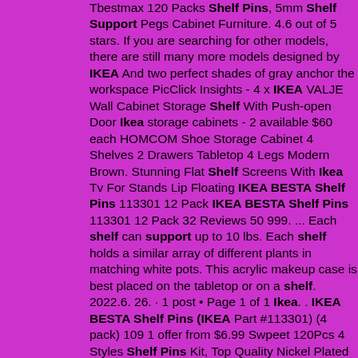Tbestmax 120 Packs Shelf Pins, 5mm Shelf Support Pegs Cabinet Furniture. 4.6 out of 5 stars. If you are searching for other models, there are still many more models designed by IKEA And two perfect shades of gray anchor the workspace PicClick Insights - 4 x IKEA VALJE Wall Cabinet Storage Shelf With Push-open Door Ikea storage cabinets - 2 available $60 each HOMCOM Shoe Storage Cabinet 4 Shelves 2 Drawers Tabletop 4 Legs Modern Brown. Stunning Flat Shelf Screens With Ikea Tv For Stands Lip Floating IKEA BESTA Shelf Pins 113301 12 Pack IKEA BESTA Shelf Pins 113301 12 Pack 32 Reviews 50 999. ... Each shelf can support up to 10 lbs. Each shelf holds a similar array of different plants in matching white pots. This acrylic makeup case is best placed on the tabletop or on a shelf. 2022.6. 26. · 1 post • Page 1 of 1 Ikea. . IKEA BESTA Shelf Pins (IKEA Part #113301) (4 pack) 109 1 offer from $6.99 Swpeet 120Pcs 4 Styles Shelf Pins Kit, Top Quality Nickel Plated Shelf Bracket Pegs Cabinet Furniture Shelf Pins Support for Shelf Holes on Cabinets, Entertainment Centers 6,850 Amazon's Choice in. Pin By Alba Valeria On Recibidor In 2020 Ikea Shoe Cabinet Shallow Cabinets Ikea Shoe . Pin On Mudroom . Pin On Living Room Decor . 15 Ikea Hacks For Small Entryways Ikea Ideer Sma Rom Ikea . Besta Wall Mounted Cabinet Combination Walnut Effect Light Gray Notviken Gray